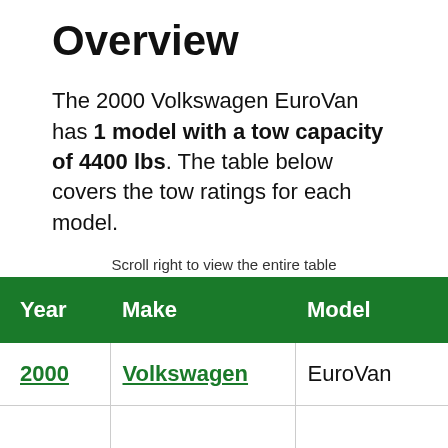Overview
The 2000 Volkswagen EuroVan has 1 model with a tow capacity of 4400 lbs. The table below covers the tow ratings for each model.
Scroll right to view the entire table
| Year | Make | Model | En… |
| --- | --- | --- | --- |
| 2000 | Volkswagen | EuroVan | AL |